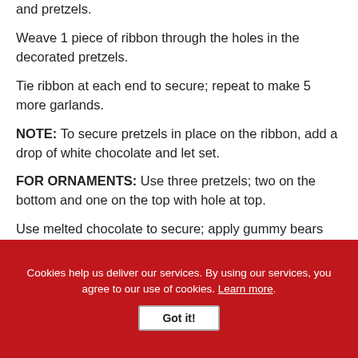and pretzels.
Weave 1 piece of ribbon through the holes in the decorated pretzels.
Tie ribbon at each end to secure; repeat to make 5 more garlands.
NOTE: To secure pretzels in place on the ribbon, add a drop of white chocolate and let set.
FOR ORNAMENTS: Use three pretzels; two on the bottom and one on the top with hole at top.
Use melted chocolate to secure; apply gummy bears and ribbon with melted chocolate.
Cookies help us deliver our services. By using our services, you agree to our use of cookies. Learn more. Got it!